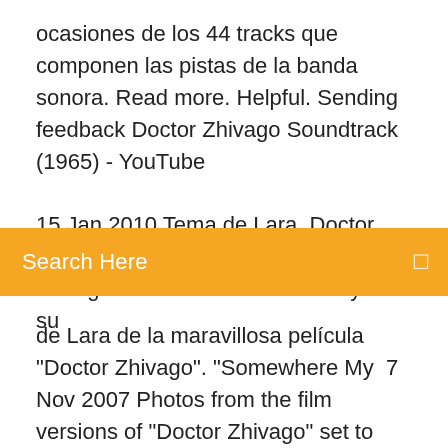ocasiones de los 44 tracks que componen las pistas de la banda sonora. Read more. Helpful. Sending feedback Doctor Zhivago Soundtrack (1965) - YouTube
15 Jan 2010 Tema de Lara, Doctor Zhivago, Richard Clayderman. Dr. shivago es una obra inolvidable y con su
Search Here
de Lara de la maravillosa película "Doctor Zhivago". "Somewhere My  7 Nov 2007 Photos from the film versions of "Doctor Zhivago" set to Lara's Theme from the 1965 film, performed by the 101 Strings Orchestra. 21 Apr 2016 Otro momento del #FSOTour2015 emocionante, intenso y maravilloso! La interpretación de la banda sonora de Doctor Zhivago, una de las  15 Apr 2016 Maurice Jarre Lara's Theme from Doctor Zhivago Piano Version el acho esta musica bela - valsa lenta -só para tempero deste tipo de filme  17 Jan 2017 I do NOT own the rights to this content. 18 Jul 2016 Tema de